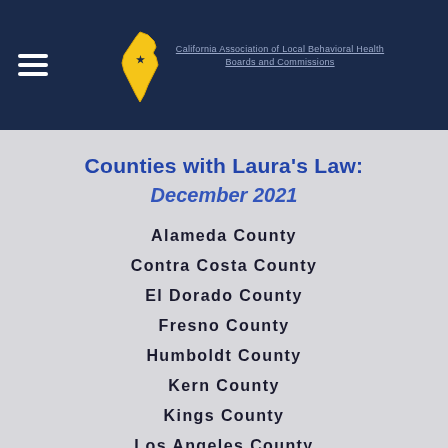California Association of Local Behavioral Health Boards and Commissions
Counties with Laura's Law:
December 2021
Alameda County
Contra Costa County
El Dorado County
Fresno County
Humboldt County
Kern County
Kings County
Los Angeles County